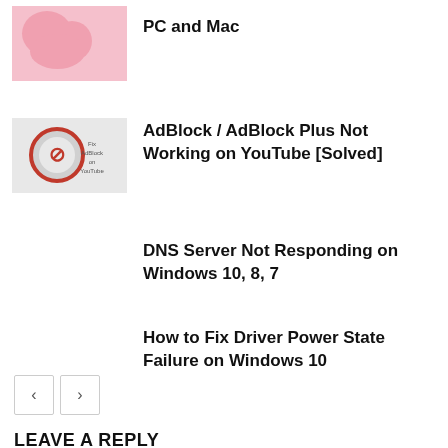[Figure (illustration): Pink decorative blob/flower shape thumbnail, partially visible at top]
PC and Mac
[Figure (illustration): AdBlock/AdBlock Plus thumbnail with red circle logo on grey background and text 'Fix AdBlock on YouTube']
AdBlock / AdBlock Plus Not Working on YouTube [Solved]
DNS Server Not Responding on Windows 10, 8, 7
How to Fix Driver Power State Failure on Windows 10
< >
LEAVE A REPLY